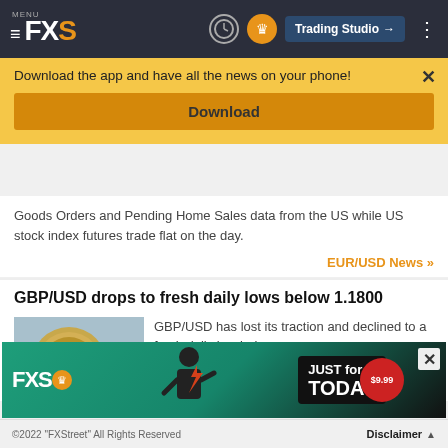MENU FXS | Trading Studio
Download the app and have all the news on your phone!
Download
Goods Orders and Pending Home Sales data from the US while US stock index futures trade flat on the day.
EUR/USD News >>
GBP/USD drops to fresh daily lows below 1.1800
GBP/USD has lost its traction and declined to a fresh daily low below
[Figure (photo): Photo of British one pound coins]
[Figure (infographic): FXS advertisement banner: JUST for TODAY $9.99]
©2022 "FXStreet" All Rights Reserved | Disclaimer